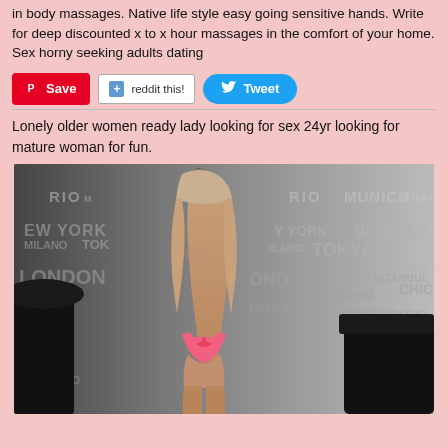in body massages. Native life style easy going sensitive hands. Write for deep discounted x to x hour massages in the comfort of your home. Sex horny seeking adults dating
[Figure (screenshot): Social sharing buttons: Pinterest Save, reddit this!, Tweet]
Lonely older women ready lady looking for sex 24yr looking for mature woman for fun.
[Figure (photo): Photo of a woman from behind wearing a pink bikini bottom, standing in front of a backdrop with city names (RIO, MUNICH, PRAGUE, NEW YORK, BERLIN, AMSTERDAM, MILANO, TOKYO, BARCELONA, LONDON, ISTANBUL, CHICAGO, SHANGHAI, PRAGUE, TORONTO). A lamp and dark sofa are visible.]